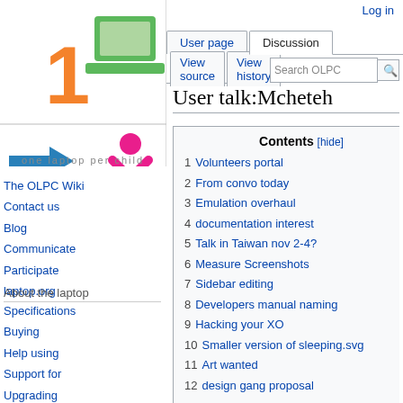Log in
[Figure (logo): OLPC (One Laptop Per Child) logo with orange '1', green laptop icon, blue arrow, pink person/X icon, and text 'one laptop per child']
User talk:Mcheteh
Contents [hide]
1 Volunteers portal
2 From convo today
3 Emulation overhaul
4 documentation interest
5 Talk in Taiwan nov 2-4?
6 Measure Screenshots
7 Sidebar editing
8 Developers manual naming
9 Hacking your XO
10 Smaller version of sleeping.svg
11 Art wanted
12 design gang proposal
The OLPC Wiki
Contact us
Blog
Communicate
Participate
laptop.org
About the laptop
Specifications
Buying
Help using
Support for
Upgrading
Repairing